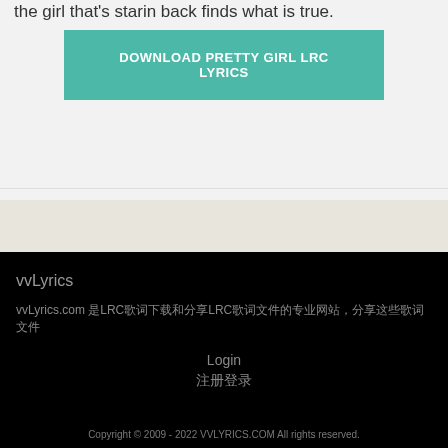the girl that's starin back finds what is true.
DOWNLOAD PRETTY GIRL LRC LYRICS
vvLyrics
vvLyrics.com 是LRC歌词下载和分享LRC歌词文件的专业网站，分享这些歌词文件
Login
注册登录
Copyright © 2009 - 2022 VVLYRICS.COM All rights reserved.